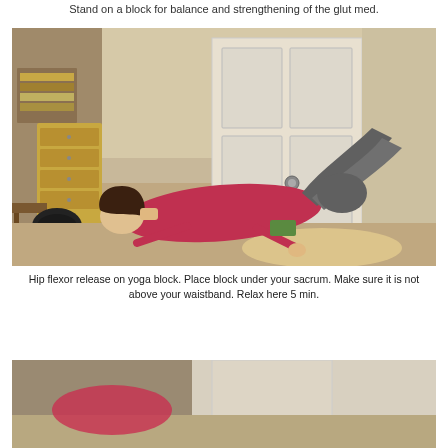Stand on a block for balance and strengthening of the glut med.
[Figure (photo): Person performing a hip flexor release exercise lying on their back on carpet, with a yoga block placed under the sacrum, knees bent, arms at sides, in a room with wooden furniture and a white door in background.]
Hip flexor release on yoga block. Place block under your sacrum. Make sure it is not above your waistband. Relax here 5 min.
[Figure (photo): Partial view of another exercise photo, cropped at bottom of page.]